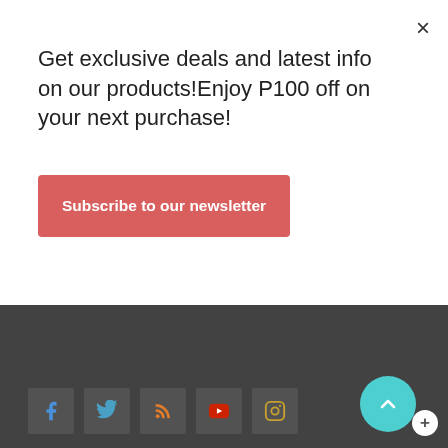Get exclusive deals and latest info on our products!Enjoy P100 off on your next purchase!
Subscribe to our newsletter
Artillery Philippines (run by ARTDROP Art Supplies Trading) supplies Copic markers, Miya Himi Gouache, Winsor and Newton Watercolors, Uni Posca Markers, Holbein Watercolors, Holbein Acrylic Gouache, calligraphy supplies, brushes, bullet journaling pens and other art materials.
[Figure (infographic): Social media icons: Facebook (blue), Twitter (blue), RSS feed (orange), YouTube (red), Instagram (outlined)]
SERVICES
[Figure (infographic): Shopping cart icon with count 0 at bottom left]
[Figure (infographic): Scroll-to-top teal circular button with up arrow, and a plus button overlay]